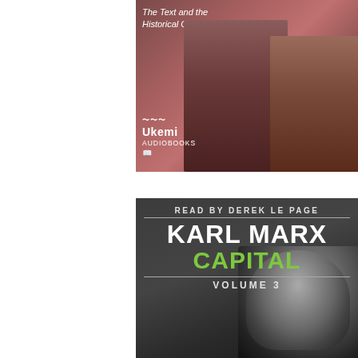[Figure (photo): Top audiobook cover image showing two historical figures (Karl Marx and Friedrich Engels) on a reddish-brown background, with Ukemi Audiobooks logo and italic subtitle text 'The Text and the Historical Context']
[Figure (photo): Bottom audiobook cover for Karl Marx Capital Volume 3, dark grey background with portrait of Karl Marx on the right side, text 'READ BY DEREK LE PAGE', 'KARL MARX', 'CAPITAL', 'VOLUME 3']